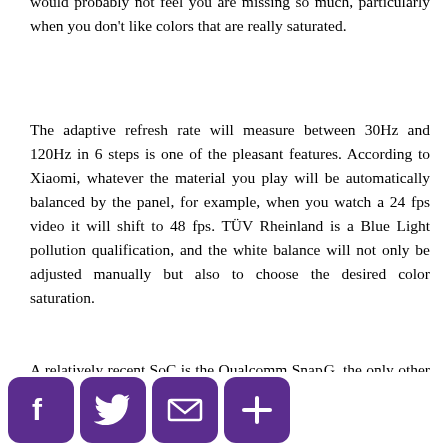would probably not feel you are missing so much, particularly when you don't like colors that are really saturated.
The adaptive refresh rate will measure between 30Hz and 120Hz in 6 steps is one of the pleasant features. According to Xiaomi, whatever the material you play will be automatically balanced by the panel, for example, when you watch a 24 fps video it will shift to 48 fps. TÜV Rheinland is a Blue Light pollution qualification, and the white balance will not only be adjusted manually but also to choose the desired color saturation.
A relatively recent SoC is the Qualcomm Sna G, the only other phone in India which uses the Moto G 5G so far. It is power than
[Figure (other): Social sharing icons bar at the bottom: Facebook (f), Twitter (bird), Email (envelope), Plus/Share (+) — all in purple rounded square buttons]